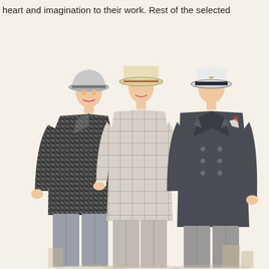heart and imagination to their work. Rest of the selected
[Figure (illustration): Vintage fashion illustration showing three men in 1940s-style suits and hats. Left figure wears a houndstooth patterned suit with a grey fedora and dark tie. Center figure wears a light grey windowpane check suit with a flat-brimmed boater hat and striped tie. Right figure wears a dark double-breasted suit with a white naval/captain's cap and pocket square.]